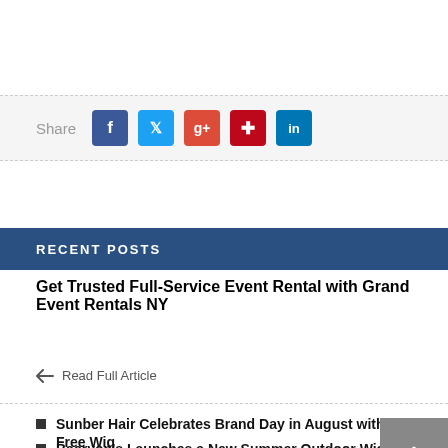[Figure (infographic): Social share bar with Facebook, Twitter, Google+, Pinterest, and LinkedIn buttons]
RECENT POSTS
Get Trusted Full-Service Event Rental with Grand Event Rentals NY
Read Full Article
Sunber Hair Celebrates Brand Day in August with Free Wig
Baeryon's Launches a New Summer Outdoor Wicker Sectional